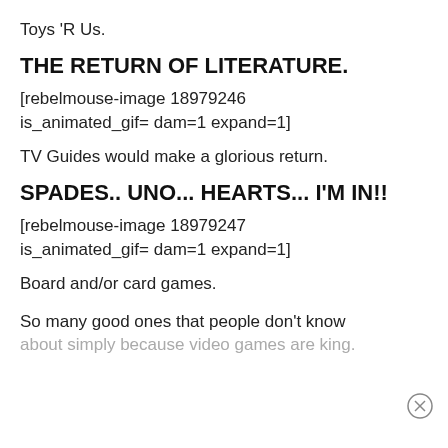Toys 'R Us.
THE RETURN OF LITERATURE.
[rebelmouse-image 18979246 is_animated_gif= dam=1 expand=1]
TV Guides would make a glorious return.
SPADES.. UNO... HEARTS... I'M IN!!
[rebelmouse-image 18979247 is_animated_gif= dam=1 expand=1]
Board and/or card games.
So many good ones that people don't know about simply because video games are king.